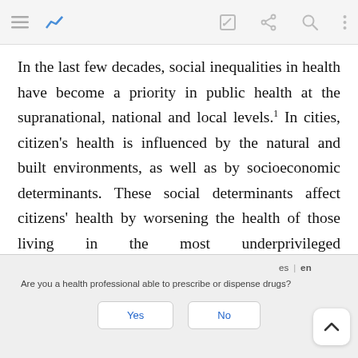[toolbar with navigation icons]
In the last few decades, social inequalities in health have become a priority in public health at the supranational, national and local levels.1 In cities, citizen's health is influenced by the natural and built environments, as well as by socioeconomic determinants. These social determinants affect citizens' health by worsening the health of those living in the most underprivileged neighbourhoods.2 Community health has been defined as a multi-sector and multidisciplinary approach to engage and
es | en  Are you a health professional able to prescribe or dispense drugs?  Yes  No